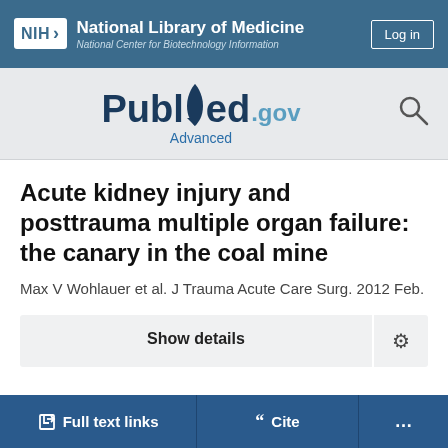NIH National Library of Medicine - National Center for Biotechnology Information
[Figure (logo): PubMed.gov logo with Advanced search link and search icon]
Acute kidney injury and posttrauma multiple organ failure: the canary in the coal mine
Max V Wohlauer et al. J Trauma Acute Care Surg. 2012 Feb.
Show details
Full text links | Cite | ...